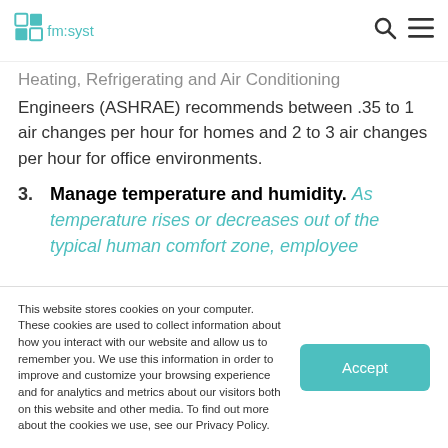fm:systems
Heating, Refrigerating and Air Conditioning Engineers (ASHRAE) recommends between .35 to 1 air changes per hour for homes and 2 to 3 air changes per hour for office environments.
3. Manage temperature and humidity. As temperature rises or decreases out of the typical human comfort zone, employee
This website stores cookies on your computer. These cookies are used to collect information about how you interact with our website and allow us to remember you. We use this information in order to improve and customize your browsing experience and for analytics and metrics about our visitors both on this website and other media. To find out more about the cookies we use, see our Privacy Policy.